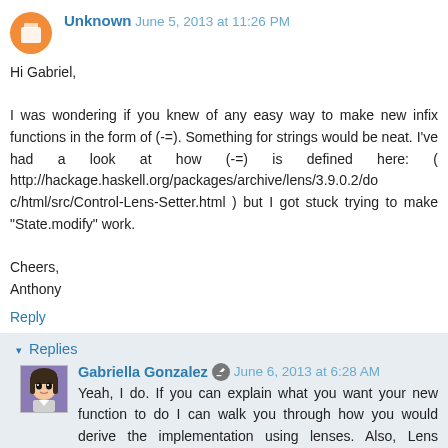Unknown  June 5, 2013 at 11:26 PM
Hi Gabriel,

I was wondering if you knew of any easy way to make new infix functions in the form of (-=). Something for strings would be neat. I've had a look at how (-=) is defined here: ( http://hackage.haskell.org/packages/archive/lens/3.9.0.2/doc/html/src/Control-Lens-Setter.html ) but I got stuck trying to make "State.modify" work.

Cheers,
Anthony
Reply
Replies
Gabriella Gonzalez  June 6, 2013 at 6:28 AM
Yeah, I do. If you can explain what you want your new function to do I can walk you through how you would derive the implementation using lenses. Also, Lens already has a modify-like infix function called (%=) at...